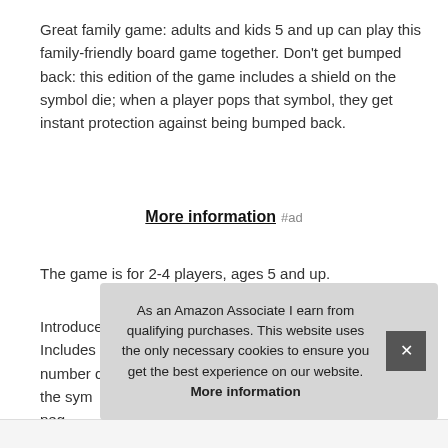Great family game: adults and kids 5 and up can play this family-friendly board game together. Don't get bumped back: this edition of the game includes a shield on the symbol die; when a player pops that symbol, they get instant protection against being bumped back.
More information #ad
The game is for 2-4 players, ages 5 and up.
Introduce your own kids to this edition of the Trouble game. Includes 2 dice: this trouble game amps up the fun with a number die and a symbol die in the Pop-o-Matic dice roller; the sym[bol] peg[s] rem[ain]...
As an Amazon Associate I earn from qualifying purchases. This website uses the only necessary cookies to ensure you get the best experience on our website. More information